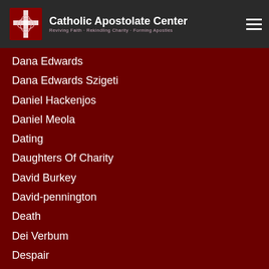Catholic Apostolate Center — Reviving Faith · Rekindling Charity · Forming Apostles
Dana Edwards
Dana Edwards Szigeti
Daniel Hackenjos
Daniel Meola
Dating
Daughters Of Charity
David Burkey
David-pennington
Death
Dei Verbum
Despair
Deus Caritas Est
Devotions
Director's Desk
Discernment
Discipleship
Diversity